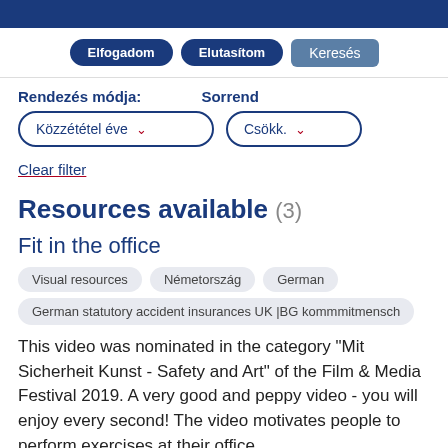Elfogadom   Elutasítom   Keresés
Rendezés módja:   Sorrend
Közzététel éve ▾   Csökk. ▾
Clear filter
Resources available (3)
Fit in the office
Visual resources
Németország
German
German statutory accident insurances UK |BG kommmitmensch
This video was nominated in the category "Mit Sicherheit Kunst - Safety and Art" of the Film & Media Festival 2019. A very good and peppy video - you will enjoy every second! The video motivates people to perform exercises at their office